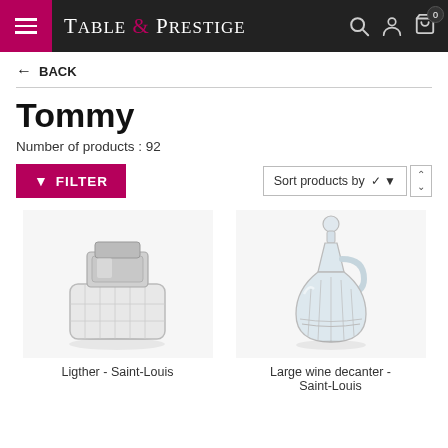Table & Prestige
← BACK
Tommy
Number of products : 92
FILTER   Sort products by ▾ ∧ ∨
[Figure (photo): Crystal table lighter by Saint-Louis]
Ligther - Saint-Louis
[Figure (photo): Large crystal wine decanter by Saint-Louis]
Large wine decanter - Saint-Louis